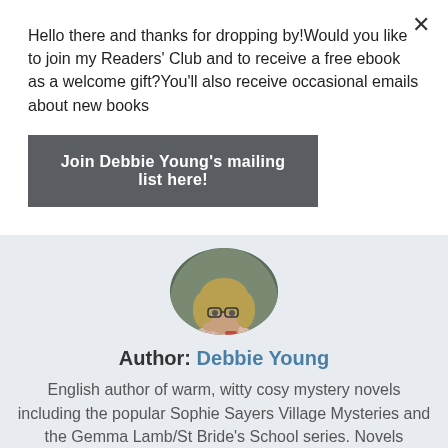Hello there and thanks for dropping by!Would you like to join my Readers' Club and to receive a free ebook as a welcome gift?You'll also receive occasional emails about new books
Join Debbie Young's mailing list here!
[Figure (photo): Circular portrait photo of Debbie Young, a woman with blonde hair and glasses, posed with hands near her face]
Author: Debbie Young
English author of warm, witty cosy mystery novels including the popular Sophie Sayers Village Mysteries and the Gemma Lamb/St Bride's School series. Novels